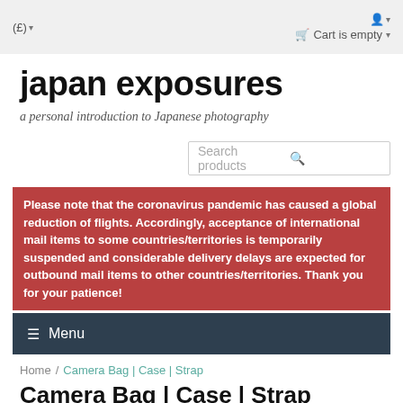(£) ▾   🛒 Cart is empty ▾   👤 ▾
japan exposures
a personal introduction to Japanese photography
Search products
Please note that the coronavirus pandemic has caused a global reduction of flights. Accordingly, acceptance of international mail items to some countries/territories is temporarily suspended and considerable delivery delays are expected for outbound mail items to other countries/territories. Thank you for your patience!
☰ Menu
Home / Camera Bag | Case | Strap
Camera Bag | Case | Strap